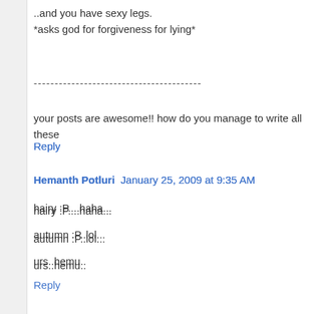..and you have sexy legs.
*asks god for forgiveness for lying*
----------------------------------------
your posts are awesome!! how do you manage to write all these
Reply
Hemanth Potluri   January 25, 2009 at 9:35 AM
hairy :P....haha...
autumn :P..lol...
urs..hemu..
Reply
Renu   January 25, 2009 at 9:41 AM
Only Katrina is beautiful in the list and she is not Indian:)
Reply